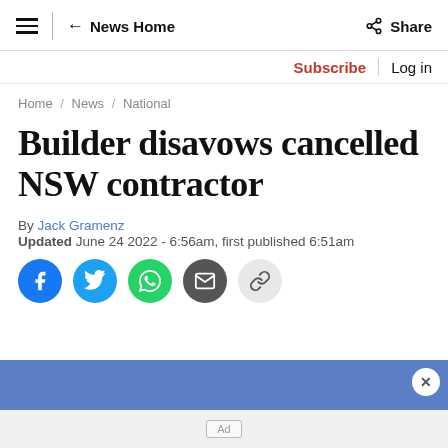≡  ← News Home    Share
Subscribe | Log in
Home / News / National
Builder disavows cancelled NSW contractor
By Jack Gramenz
Updated June 24 2022 - 6:56am, first published 6:51am
[Figure (infographic): Social sharing buttons: Facebook, Twitter, WhatsApp, Email, Copy link]
[Figure (other): Ad banner area with close button and Ad label]